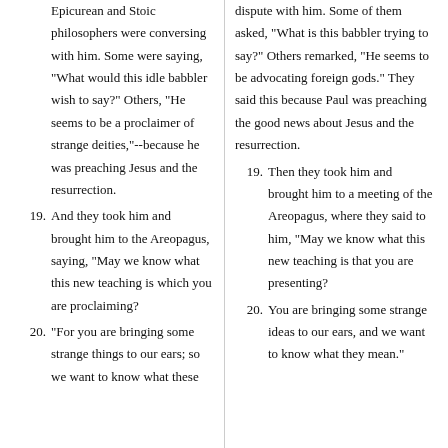Epicurean and Stoic philosophers were conversing with him. Some were saying, "What would this idle babbler wish to say?" Others, "He seems to be a proclaimer of strange deities,"--because he was preaching Jesus and the resurrection.
19. And they took him and brought him to the Areopagus, saying, "May we know what this new teaching is which you are proclaiming?
20. "For you are bringing some strange things to our ears; so we want to know what these
dispute with him. Some of them asked, "What is this babbler trying to say?" Others remarked, "He seems to be advocating foreign gods." They said this because Paul was preaching the good news about Jesus and the resurrection.
19. Then they took him and brought him to a meeting of the Areopagus, where they said to him, "May we know what this new teaching is that you are presenting?
20. You are bringing some strange ideas to our ears, and we want to know what they mean."